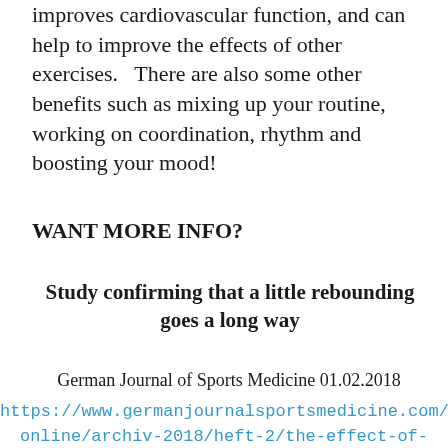improves cardiovascular function, and can help to improve the effects of other exercises.   There are also some other benefits such as mixing up your routine, working on coordination, rhythm and boosting your mood!
WANT MORE INFO?
Study confirming that a little rebounding goes a long way
German Journal of Sports Medicine 01.02.2018
https://www.germanjournalsportsmedicine.com/artik online/archiv-2018/heft-2/the-effect-of-several-